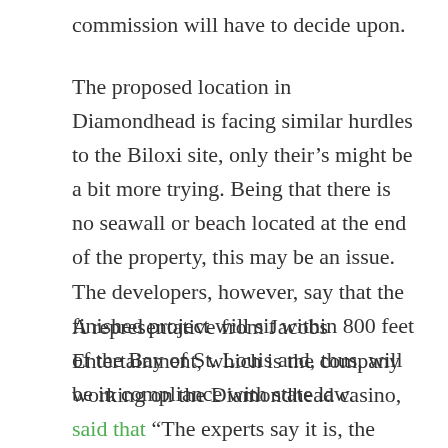commission will have to decide upon.
The proposed location in Diamondhead is facing similar hurdles to the Biloxi site, only their’s might be a bit more trying. Being that there is no seawall or beach located at the end of the property, this may be an issue. The developers, however, say that the finished project will sit within 800 feet of the Bay of St. Louis and, thus, will be in compliance with state law.
A representative from Jacobs Entertainment, which is the company working on the Diamondhead casino, said that “The experts say it is, the National Oceanographic and Atmospheric Administration, the Department of Marine Resources. The guy who drew the maps and the